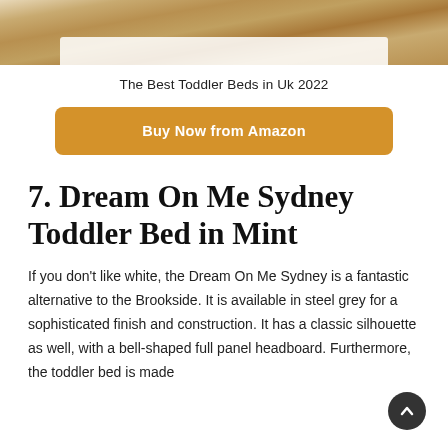[Figure (photo): Top portion of a toddler bed with colorful patterned bedding on a herringbone wood floor, white bed frame visible]
The Best Toddler Beds in Uk 2022
Buy Now from Amazon
7. Dream On Me Sydney Toddler Bed in Mint
If you don't like white, the Dream On Me Sydney is a fantastic alternative to the Brookside. It is available in steel grey for a sophisticated finish and construction. It has a classic silhouette as well, with a bell-shaped full panel headboard. Furthermore, the toddler bed is made